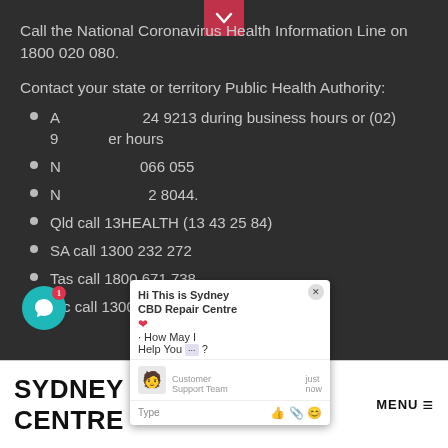Call the National Coronavirus Health Information Line on 1800 020 080.
Contact your state or territory Public Health Authority:
ACT call (02) 9124 9213 during business hours or (02) 9124 9213 after hours
NSW 1800 066 055
NT call (08) 8922 8044.
Qld call 13HEALTH (13 43 25 84)
SA call 1300 232 272
Tas call 1800 671 738
Vic call 1300 651 160
[Figure (screenshot): Chat popup overlay from Sydney CBD Repair Centre with greeting message and customer support team]
SYDNEY CBD REPAIR CENTRE
MENU ≡